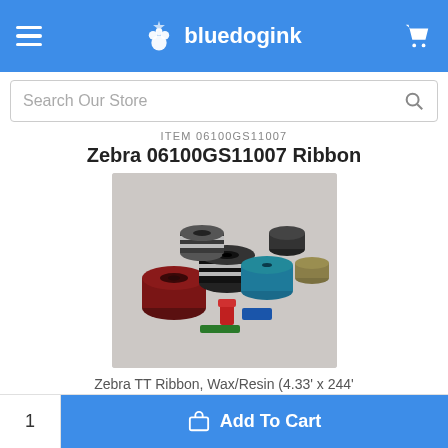bluedogink
Search Our Store
ITEM 06100GS11007
Zebra 06100GS11007 Ribbon
[Figure (photo): Photo of Zebra thermal transfer ribbon rolls in various colors including black, dark red/maroon, and blue-green, stacked together]
Zebra TT Ribbon, Wax/Resin (4.33' x 244' Roll) (0.5' Core)
$241.99
In Stock
Free Shipping
1  Add To Cart